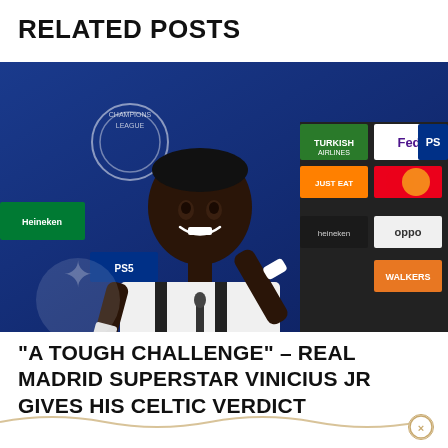RELATED POSTS
[Figure (photo): Vinicius Jr at a UEFA Champions League press conference, smiling and gesturing with fingers raised, sponsors visible in background (Heineken, PS5, Turkish Airlines, FedEx, Just Eat, Oppo, Walkers, Mastercard)]
“A TOUGH CHALLENGE” – REAL MADRID SUPERSTAR VINICIUS JR GIVES HIS CELTIC VERDICT